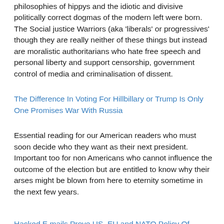philosophies of hippys and the idiotic and divisive politically correct dogmas of the modern left were born. The Social justice Warriors (aka 'liberals' or progressives' though they are really neither of these things but instead are moralistic authoritarians who hate free speech and personal liberty and support censorship, government control of media and criminalisation of dissent.
The Difference In Voting For Hillbillary or Trump Is Only One Promises War With Russia
Essential reading for our American readers who must soon decide who they want as their next president. Important too for non Americans who cannot influence the outcome of the election but are entitled to know why their arses might be blown from here to eternity sometime in the next few years.
Hacked E mails Prove US, EU and NATO Policy Of Provoking And Escalating Conflict With Russia
Ukraine Donbass War